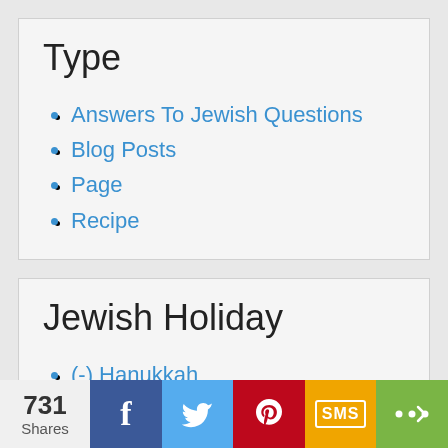Type
Answers To Jewish Questions
Blog Posts
Page
Recipe
Jewish Holiday
(-) Hanukkah
731 Shares